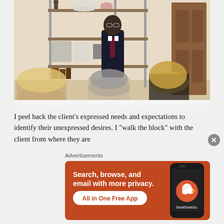[Figure (photo): A man in a dark suit and tie stands in a well-decorated room with shelving units holding decorative items, facing seated people whose backs are to the camera. A wooden door is visible on the right.]
I peel back the client's expressed needs and expectations to identify their unexpressed desires. I "walk the block" with the client from where they are
[Figure (infographic): DuckDuckGo advertisement banner with orange background. Text: 'Search, browse, and email with more privacy. All in One Free App' with DuckDuckGo logo on a phone mockup.]